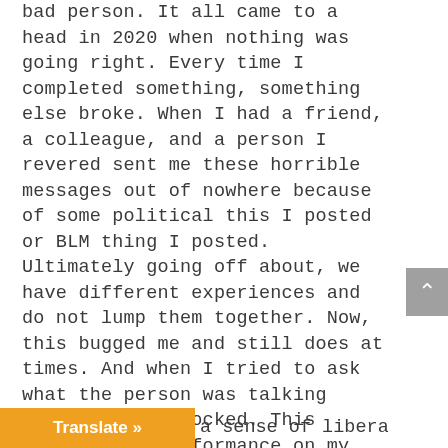bad person. It all came to a head in 2020 when nothing was going right. Every time I completed something, something else broke. When I had a friend, a colleague, and a person I revered sent me these horrible messages out of nowhere because of some political this I posted or BLM thing I posted. Ultimately going off about, we have different experiences and do not lump them together. Now, this bugged me and still does at times. And when I tried to ask what the person was talking about, I was blocked. This affected my performance on my socials. I actually stopped making content for just over a year, and this friend wasn't the reason why. I had a lot going on medically and mentally, and I couldn't see myself doing this anymore. This book and others have been a kick in the teeth. I needed to get back online and tackle my fears, [and] a sense of liberation. What if I